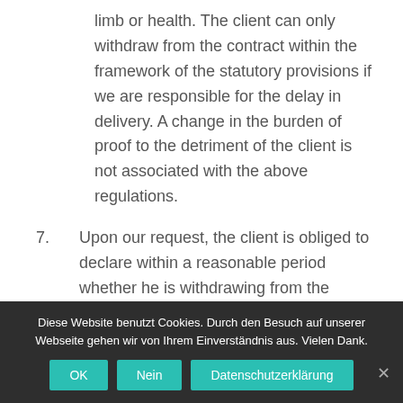limb or health. The client can only withdraw from the contract within the framework of the statutory provisions if we are responsible for the delay in delivery. A change in the burden of proof to the detriment of the client is not associated with the above regulations.
7. Upon our request, the client is obliged to declare within a reasonable period whether he is withdrawing from the contract due to the delay in delivery or whether he insists on delivery.
Diese Website benutzt Cookies. Durch den Besuch auf unserer Webseite gehen wir von Ihrem Einverständnis aus. Vielen Dank.